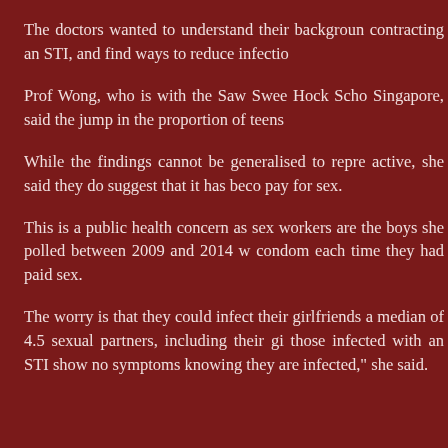The doctors wanted to understand their backgrounds, their risk factors for contracting an STI, and find ways to reduce infections.
Prof Wong, who is with the Saw Swee Hock School of Public Health in Singapore, said the jump in the proportion of teens...
While the findings cannot be generalised to represent all sexually active, she said they do suggest that it has become more common to pay for sex.
This is a public health concern as sex workers are... the boys she polled between 2009 and 2014 w... condom each time they had paid sex.
The worry is that they could infect their girlfriends... a median of 4.5 sexual partners, including their gi... those infected with an STI show no symptoms... knowing they are infected," she said.